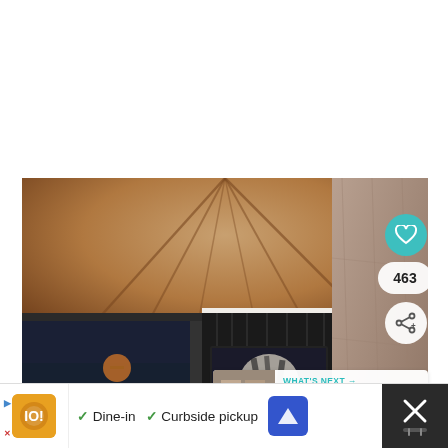[Figure (photo): Interior photo of a modern living room with an arched/vaulted brick-effect ceiling with warm LED lighting, a large wall-mounted TV on a dark paneled wall with stone/cork wall cladding, blue velvet sofas, black coffee table, and a glimpse into a kitchen/dining area with bar stools and pendant lighting. Overlaid with interactive UI elements: heart/like button (teal), like count '463', share button, and 'WHAT'S NEXT' panel for 'Barcelona flat reveals...' with a thumbnail.]
WHAT'S NEXT → Barcelona flat reveals...
Dine-in  Curbside pickup